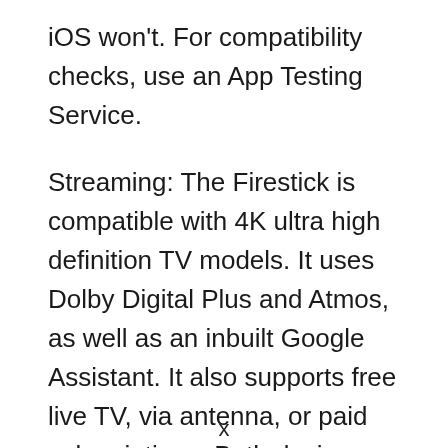iOS won't. For compatibility checks, use an App Testing Service.
Streaming: The Firestick is compatible with 4K ultra high definition TV models. It uses Dolby Digital Plus and Atmos, as well as an inbuilt Google Assistant. It also supports free live TV, via antenna, or paid subscriptions. Both devices offer high-quality sound, but the Firestick offers 5.1 surround sound only on select Firestick devices. Roku also supports
x